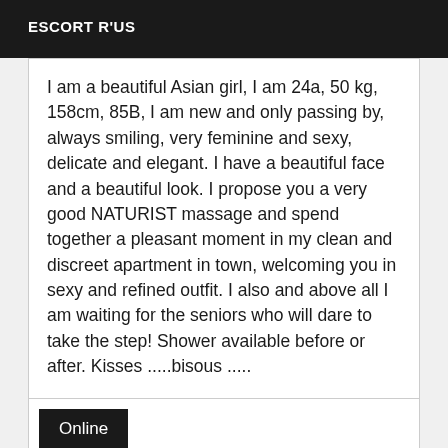ESCORT R'US
I am a beautiful Asian girl, I am 24a, 50 kg, 158cm, 85B, I am new and only passing by, always smiling, very feminine and sexy, delicate and elegant. I have a beautiful face and a beautiful look. I propose you a very good NATURIST massage and spend together a pleasant moment in my clean and discreet apartment in town, welcoming you in sexy and refined outfit. I also and above all I am waiting for the seniors who will dare to take the step! Shower available before or after. Kisses .....bisous .....
Online